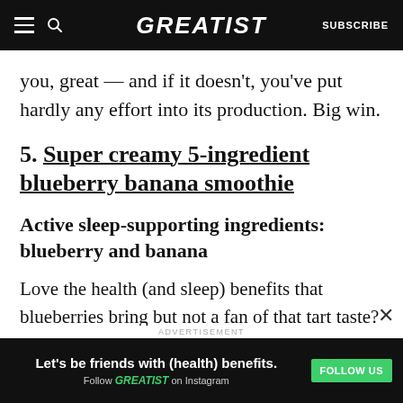GREATIST | SUBSCRIBE
you, great — and if it doesn't, you've put hardly any effort into its production. Big win.
5. Super creamy 5-ingredient blueberry banana smoothie
Active sleep-supporting ingredients: blueberry and banana
Love the health (and sleep) benefits that blueberries bring but not a fan of that tart taste?
ADVERTISEMENT
Let's be friends with (health) benefits. Follow GREATIST on Instagram FOLLOW US